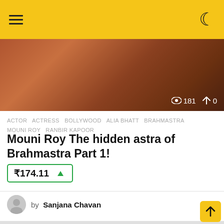Navigation header with hamburger menu and moon/dark-mode icon
[Figure (photo): Red/orange decorative background image with view count 181 and share count 0 overlaid]
ACTOR  ACTRESS  BOLLYWOOD  ALIA BHATT  BRAHMASTRA  MOUNI ROY  RANBIR KAPOOR
Mouni Roy The hidden astra of Brahmastra Part 1!
₹174.11 ▲
by Sanjana Chavan
[Figure (photo): Photo of two women at a Brahmastra promotional event. Poster in background reads STARTS 3RD SEP SAT-SUN 8PM]